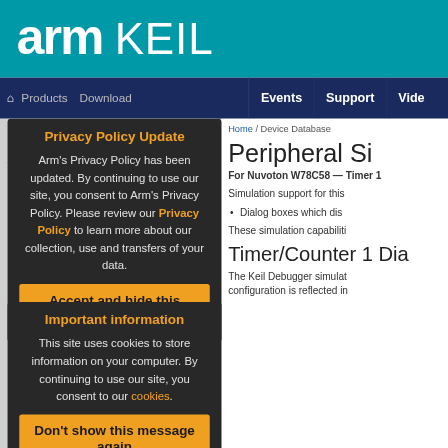arm KEIL
[Figure (screenshot): Arm Keil website screenshot with navigation bar showing Products, Download, Events, Support, Video tabs]
Privacy Policy Update
Arm's Privacy Policy has been updated. By continuing to use our site, you consent to Arm's Privacy Policy. Please review our Privacy Policy to learn more about our collection, use and transfers of your data.
Accept and hide this message
Important information
This site uses cookies to store information on your computer. By continuing to use our site, you consent to our cookies.
Don't show this message again
Change Settings
Home / Device Database
Peripheral Si
For Nuvoton W78C58 — Timer 1
Simulation support for this
Dialog boxes which dis
These simulation capabiliti
Timer/Counter 1 Dia
The Keil Debugger simulat configuration is reflected in